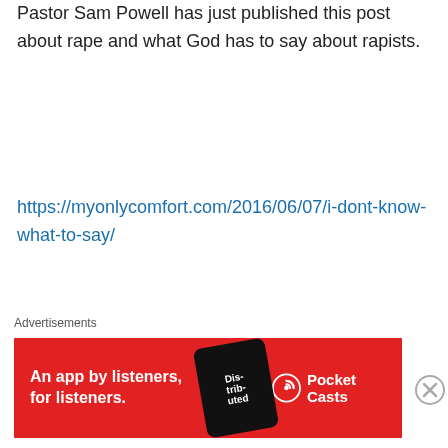Pastor Sam Powell has just published this post about rape and what God has to say about rapists.
https://myonlycomfort.com/2016/06/07/i-dont-know-what-to-say/
Some excerpts:
But if a man find a betrothed damsel in the field, and the man force her, and lie with her: then the man only that lay with her shall die: But unto the damsel thou shalt do nothing; there is in the damsel no sin worthy of death: for as when a man riseth against his neighbour, and slayeth
Advertisements
[Figure (other): Red advertisement banner for Pocket Casts app with text 'An app by listeners, for listeners.' and a phone image showing 'Distributed' with Pocket Casts logo]